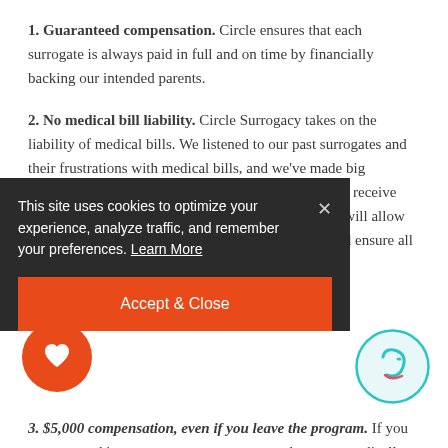1. Guaranteed compensation. Circle ensures that each surrogate is always paid in full and on time by financially backing our intended parents.
2. No medical bill liability. Circle Surrogacy takes on the liability of medical bills. We listened to our past surrogates and their frustrations with medical bills, and we've made big changes. While as the patient, a surrogate will always receive medical bills, our new Financial Concierge program will allow us to protect both surrogates and intended parents and ensure all medical bills will be paid in a timely manner.
[Figure (infographic): Cookie consent banner overlay with dark background, X close button, text about cookies, Learn More link, and orange Accept & Close button]
3. $5,000 compensation, even if you leave the program. If you are accepted into our surrogate program and you are medically cleared and matched with intended parents—but you don't achieve a pregnancy—we will compensate you for your time, energy, and dedication thus far in your journey (up to $5,000 total).
[Figure (logo): Orange circle with white heart icon (bottom left floating button)]
[Figure (logo): Teal/cyan circle surrogacy logo (bottom right)]